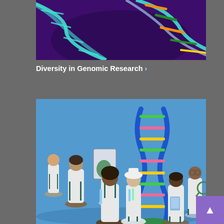[Figure (illustration): DNA double helix illustration on a purple/dark background with teal and colorful strands]
Diversity in Genomic Research ›
[Figure (illustration): 3D illustration of diverse scientists in white lab coats standing around a large DNA double helix model on a blue background]
Genomics and Diversity in the Workplace ›